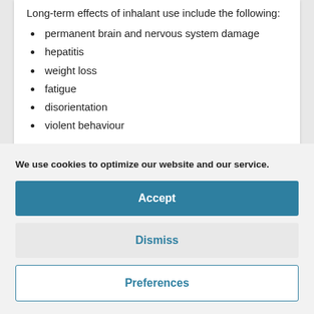Long-term effects of inhalant use include the following:
permanent brain and nervous system damage
hepatitis
weight loss
fatigue
disorientation
violent behaviour
We use cookies to optimize our website and our service.
Accept
Dismiss
Preferences